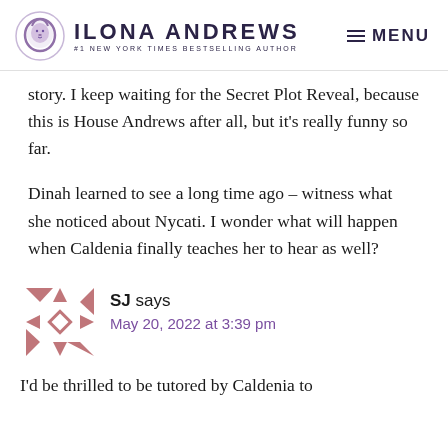Ilona Andrews — #1 New York Times Bestselling Author | MENU
story. I keep waiting for the Secret Plot Reveal, because this is House Andrews after all, but it's really funny so far.
Dinah learned to see a long time ago – witness what she noticed about Nycati. I wonder what will happen when Caldenia finally teaches her to hear as well?
SJ says
May 20, 2022 at 3:39 pm
I'd be thrilled to be tutored by Caldenia to